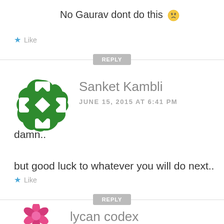No Gaurav dont do this 😞
★ Like
REPLY
[Figure (illustration): Green geometric avatar icon with cross/diamond pattern for user Sanket Kambli]
Sanket Kambli
JUNE 15, 2015 AT 6:41 PM
damn..

but good luck to whatever you will do next..
★ Like
REPLY
[Figure (illustration): Pink/magenta floral avatar icon partially visible at bottom for user lycan codex]
lycan codex